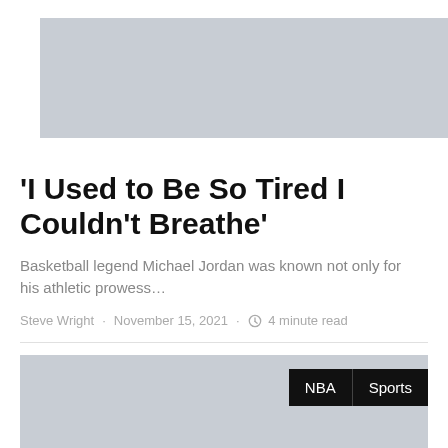[Figure (photo): Gray placeholder image at top of article]
'I Used to Be So Tired I Couldn't Breathe'
Basketball legend Michael Jordan was known not only for his athletic prowess…
Steve Wright · November 15, 2021 · 4 minute read
[Figure (photo): Gray placeholder image with NBA and Sports tags in upper right corner]